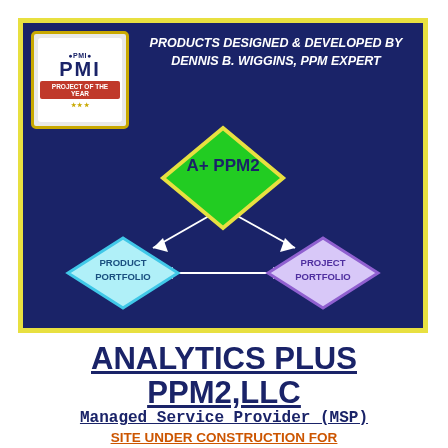[Figure (infographic): Dark blue banner with yellow border. PMI Project of the Year badge top-left. Header text: PRODUCTS DESIGNED & DEVELOPED BY DENNIS B. WIGGINS, PPM EXPERT. Center diagram showing three connected diamond shapes: A+ PPM2 (green, center-top), PRODUCT PORTFOLIO (cyan, lower-left), PROJECT PORTFOLIO (purple, lower-right) connected by arrows.]
ANALYTICS PLUS PPM2,LLC
Managed Service Provider (MSP)
SITE UNDER CONSTRUCTION FOR NEW SERVICE OFFERINGS